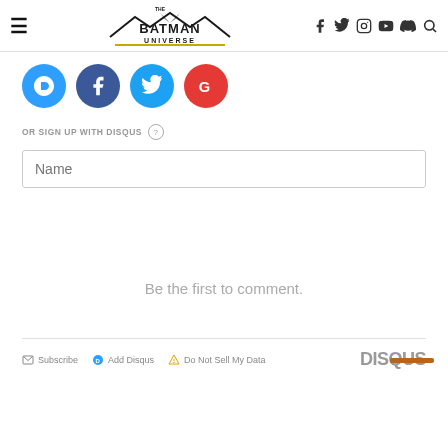The Batman Universe
[Figure (screenshot): Disqus comment section login icons: D (Disqus blue), F (Facebook blue), T (Twitter blue), G (Google red)]
OR SIGN UP WITH DISQUS ?
Name
Be the first to comment.
Subscribe  Add Disqus  Do Not Sell My Data  DISQUS